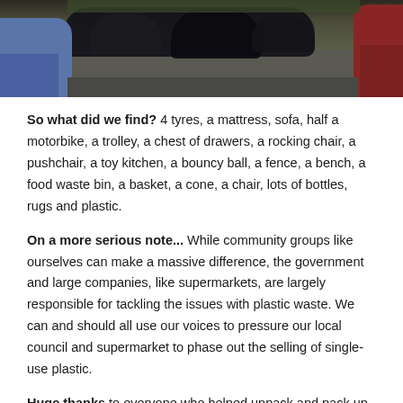[Figure (photo): Photo of rubbish/waste items collected in a community clean-up, including black bin bags and other items, on a dark asphalt surface, with cars visible on the left and right edges.]
So what did we find? 4 tyres, a mattress, sofa, half a motorbike, a trolley, a chest of drawers, a rocking chair, a pushchair, a toy kitchen, a bouncy ball, a fence, a bench, a food waste bin, a basket, a cone, a chair, lots of bottles, rugs and plastic.
On a more serious note... While community groups like ourselves can make a massive difference, the government and large companies, like supermarkets, are largely responsible for tackling the issues with plastic waste. We can and should all use our voices to pressure our local council and supermarket to phase out the selling of single-use plastic.
Huge thanks to everyone who helped unpack and pack up